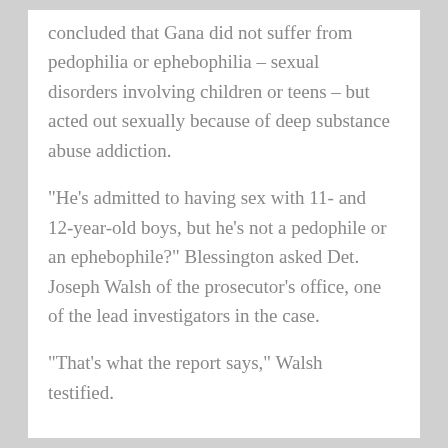concluded that Gana did not suffer from pedophilia or ephebophilia – sexual disorders involving children or teens – but acted out sexually because of deep substance abuse addiction.
"He's admitted to having sex with 11- and 12-year-old boys, but he's not a pedophile or an ephebophile?" Blessington asked Det. Joseph Walsh of the prosecutor's office, one of the lead investigators in the case.
"That's what the report says," Walsh testified.